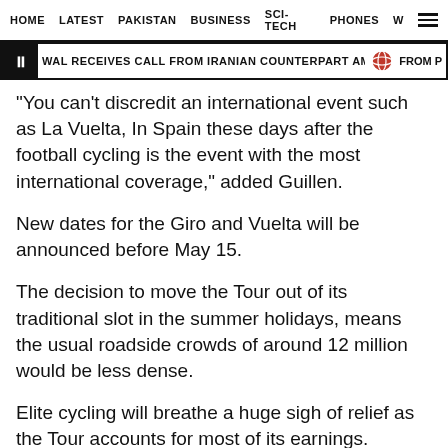HOME  LATEST  PAKISTAN  BUSINESS  SCI-TECH  PHONES  W  ☰
⏸ WAL RECEIVES CALL FROM IRANIAN COUNTERPART AMID FLOODS FURY  🔴 FROM P
"You can't discredit an international event such as La Vuelta, In Spain these days after the football cycling is the event with the most international coverage," added Guillen.
New dates for the Giro and Vuelta will be announced before May 15.
The decision to move the Tour out of its traditional slot in the summer holidays, means the usual roadside crowds of around 12 million would be less dense.
Elite cycling will breathe a huge sigh of relief as the Tour accounts for most of its earnings.
"The Tour represents around 60 percent of earnings in a season," French team AG2R boss Vincent Lavenu said in